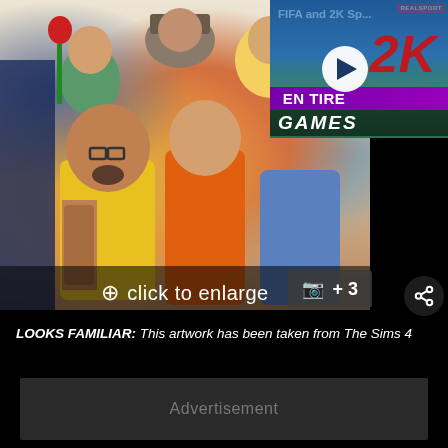[Figure (screenshot): Screenshot of a webpage showing The Sims 4 artwork image with 'click to enlarge' overlay and camera +3 button. An overlaid video ad thumbnail shows '2K Games' and 'FIFA and 2K Sp...' with a play button and 'REALSPORT' badge. A share icon is visible at bottom right of the image.]
LOOKS FAMILIAR: This artwork has been taken from The Sims 4
Advertisement